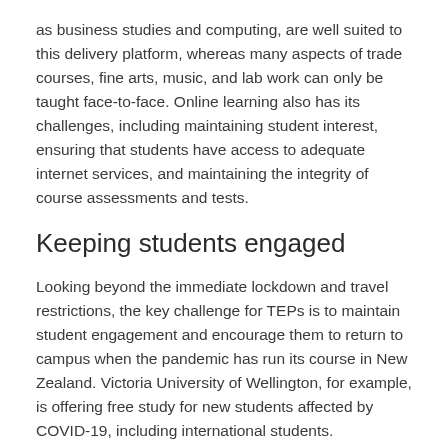as business studies and computing, are well suited to this delivery platform, whereas many aspects of trade courses, fine arts, music, and lab work can only be taught face-to-face. Online learning also has its challenges, including maintaining student interest, ensuring that students have access to adequate internet services, and maintaining the integrity of course assessments and tests.
Keeping students engaged
Looking beyond the immediate lockdown and travel restrictions, the key challenge for TEPs is to maintain student engagement and encourage them to return to campus when the pandemic has run its course in New Zealand. Victoria University of Wellington, for example, is offering free study for new students affected by COVID-19, including international students. Scholarships covering 100 per cent of tuition fees are being offered for the beginning of this year's second trimester, which starts on Monday